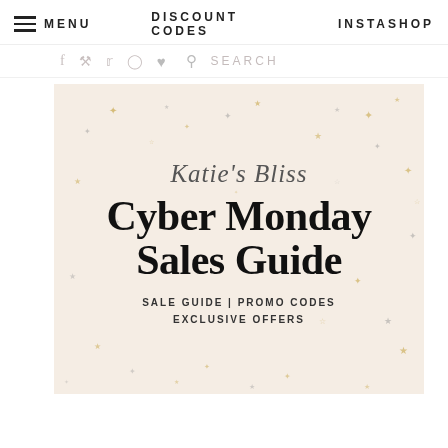MENU   DISCOUNT CODES   INSTASHOP
f  p  twitter  instagram  heart  search  SEARCH
[Figure (illustration): Katie's Bliss blog promotional image with cream/beige background scattered with gold and grey stars. Contains script text 'Katie's Bliss' above large bold serif text 'Cyber Monday Sales Guide' and smaller spaced caps text 'SALE GUIDE | PROMO CODES EXCLUSIVE OFFERS']
Cyber Monday Sales Guide
SALE GUIDE | PROMO CODES EXCLUSIVE OFFERS